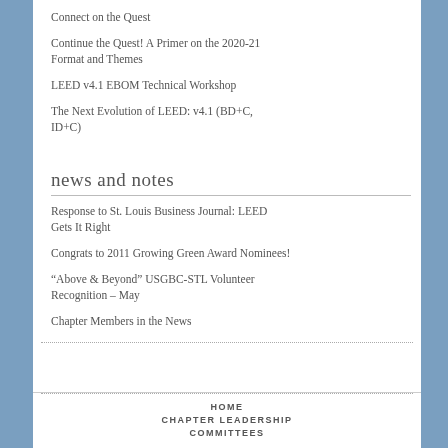Connect on the Quest
Continue the Quest! A Primer on the 2020-21 Format and Themes
LEED v4.1 EBOM Technical Workshop
The Next Evolution of LEED: v4.1 (BD+C, ID+C)
news and notes
Response to St. Louis Business Journal: LEED Gets It Right
Congrats to 2011 Growing Green Award Nominees!
“Above & Beyond” USGBC-STL Volunteer Recognition – May
Chapter Members in the News
HOME   CHAPTER LEADERSHIP   COMMITTEES